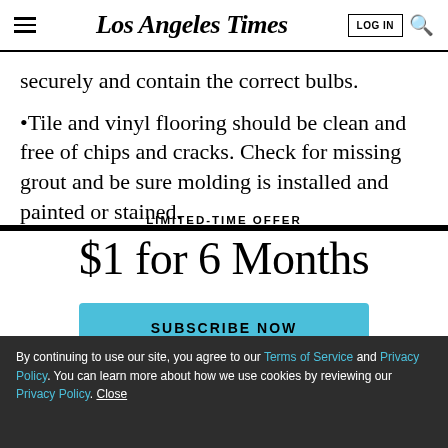Los Angeles Times
securely and contain the correct bulbs.
•Tile and vinyl flooring should be clean and free of chips and cracks. Check for missing grout and be sure molding is installed and painted or stained.
LIMITED-TIME OFFER
$1 for 6 Months
SUBSCRIBE NOW
By continuing to use our site, you agree to our Terms of Service and Privacy Policy. You can learn more about how we use cookies by reviewing our Privacy Policy. Close